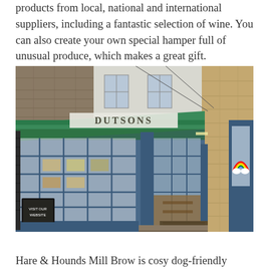products from local, national and international suppliers, including a fantastic selection of wine. You can also create your own special hamper full of unusual produce, which makes a great gift.
[Figure (photo): Exterior photograph of Dutsons shop front with blue painted woodwork, green awning with 'DUTSONS' text, large display windows, stone building facade, open door entrance with mat, and A-frame chalkboard sign on pavement. A rainbow drawing is visible in the right window.]
Hare & Hounds Mill Brow is cosy dog-friendly